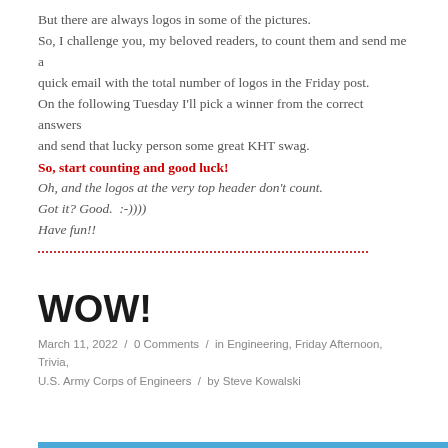But there are always logos in some of the pictures. So, I challenge you, my beloved readers, to count them and send me a quick email with the total number of logos in the Friday post. On the following Tuesday I'll pick a winner from the correct answers and send that lucky person some great KHT swag.
So, start counting and good luck!
Oh, and the logos at the very top header don't count. Got it? Good. :-))) Have fun!!
WOW!
March 11, 2022 / 0 Comments / in Engineering, Friday Afternoon, Trivia, U.S. Army Corps of Engineers / by Steve Kowalski